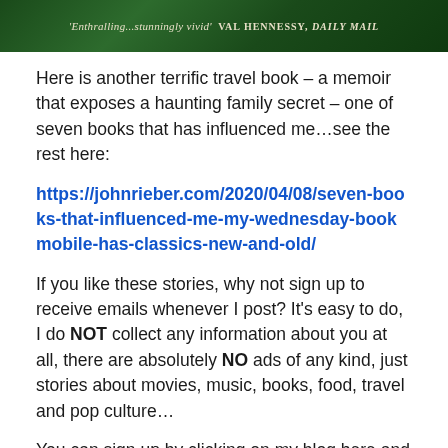[Figure (photo): Book cover banner with green forest/nature background and text quote: ''Enthralling...stunningly vivid' VAL HENNESSY, DAILY MAIL']
Here is another terrific travel book – a memoir that exposes a haunting family secret – one of seven books that has influenced me…see the rest here:
https://johnrieber.com/2020/04/08/seven-books-that-influenced-me-my-wednesday-bookmobile-has-classics-new-and-old/
If you like these stories, why not sign up to receive emails whenever I post? It's easy to do, I do NOT collect any information about you at all, there are absolutely NO ads of any kind, just stories about movies, music, books, food, travel and pop culture…
You can sign up by clicking on my blog here and see the …